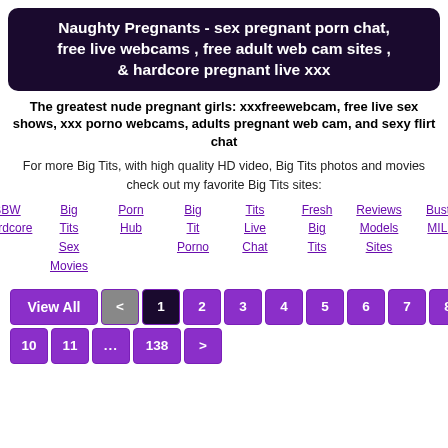Naughty Pregnants - sex pregnant porn chat, free live webcams , free adult web cam sites , & hardcore pregnant live xxx
The greatest nude pregnant girls: xxxfreewebcam, free live sex shows, xxx porno webcams, adults pregnant web cam, and sexy flirt chat
For more Big Tits, with high quality HD video, Big Tits photos and movies check out my favorite Big Tits sites:
BBW Hardcore
Big Tits Sex Movies
Porn Hub
Big Tit Porno
Tits Live Chat
Fresh Big Tits
Reviews Models Sites
Busty MILF